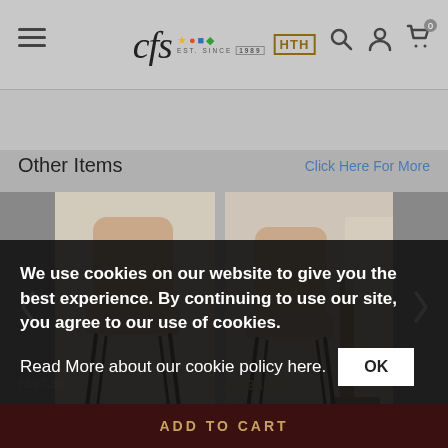CFS HTH - est. since 1989 - navigation header with search, account, and cart icons
Other Items
Click Here For More
[Figure (photo): Two dining chairs with taupe/beige upholstery and dark metal hairpin legs shown in a carousel product listing. Left chair shown solo against white wall; right chair shown near a wooden table.]
We use cookies on our website to give you the best experience. By continuing to use our site, you agree to our use of cookies.
Read More about our cookie policy here.
OK
ADD TO CART